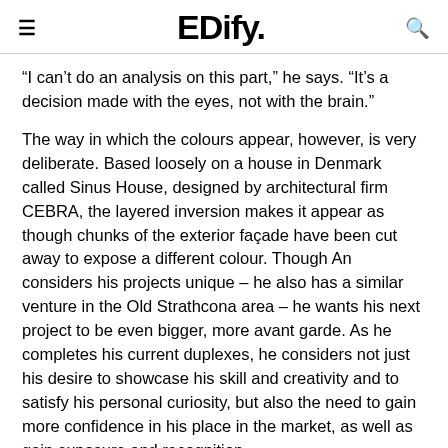EDify.
“I can’t do an analysis on this part,” he says. “It’s a decision made with the eyes, not with the brain.”
The way in which the colours appear, however, is very deliberate. Based loosely on a house in Denmark called Sinus House, designed by architectural firm CEBRA, the layered inversion makes it appear as though chunks of the exterior façade have been cut away to expose a different colour. Though An considers his projects unique – he also has a similar venture in the Old Strathcona area – he wants his next project to be even bigger, more avant garde. As he completes his current duplexes, he considers not just his desire to showcase his skill and creativity and to satisfy his personal curiosity, but also the need to gain more confidence in his place in the market, as well as gain exposure and recognition.
“I’ve always been thinking of something different,” he says – th